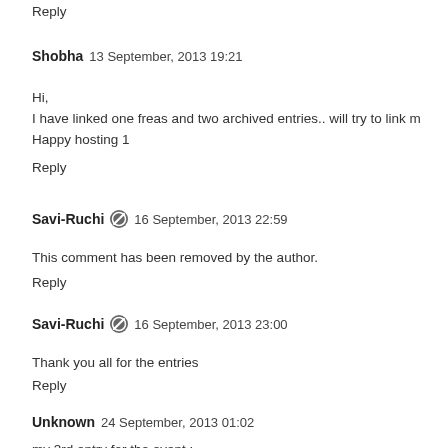Reply
Shobha  13 September, 2013 19:21
Hi,
I have linked one freas and two archived entries.. will try to link m
Happy hosting 1
Reply
Savi-Ruchi  16 September, 2013 22:59
This comment has been removed by the author.
Reply
Savi-Ruchi  16 September, 2013 23:00
Thank you all for the entries
Reply
Unknown  24 September, 2013 01:02
my 3rd entry for the event :
veg club sandwich